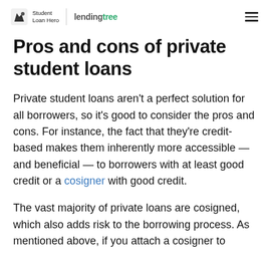Student Loan Hero | lendingtree
Pros and cons of private student loans
Private student loans aren't a perfect solution for all borrowers, so it's good to consider the pros and cons. For instance, the fact that they're credit-based makes them inherently more accessible — and beneficial — to borrowers with at least good credit or a cosigner with good credit.
The vast majority of private loans are cosigned, which also adds risk to the borrowing process. As mentioned above, if you attach a cosigner to